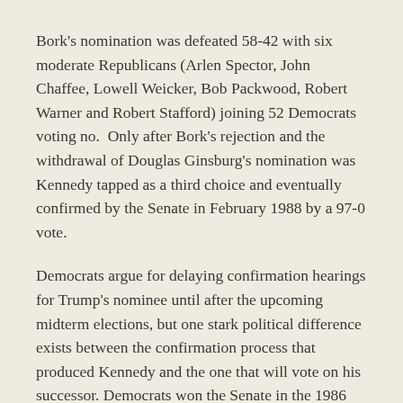Bork's nomination was defeated 58-42 with six moderate Republicans (Arlen Spector, John Chaffee, Lowell Weicker, Bob Packwood, Robert Warner and Robert Stafford) joining 52 Democrats voting no.  Only after Bork's rejection and the withdrawal of Douglas Ginsburg's nomination was Kennedy tapped as a third choice and eventually confirmed by the Senate in February 1988 by a 97-0 vote.
Democrats argue for delaying confirmation hearings for Trump's nominee until after the upcoming midterm elections, but one stark political difference exists between the confirmation process that produced Kennedy and the one that will vote on his successor. Democrats won the Senate in the 1986 midterm elections and had enough votes to control the chamber even without Republican defections.  Today Republicans hold a slim majority in the Senate, and in